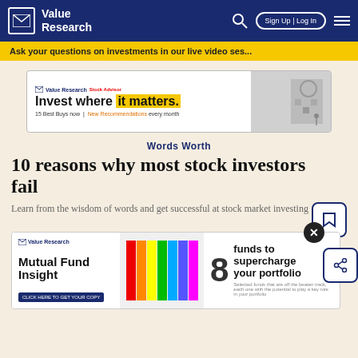Value Research — Sign Up | Log In
Ask your questions on investments in our live video ses...
[Figure (screenshot): Value Research Stock Advisor advertisement banner: 'Invest where it matters. 15 Best Buys now | New Recommendations every month']
Words Worth
10 reasons why most stock investors fail
Learn from the wisdom of words and get successful at stock market investing
[Figure (screenshot): Value Research Mutual Fund Insight advertisement: '8 funds to supercharge your portfolio. CLICK HERE TO GET YOUR COPY']